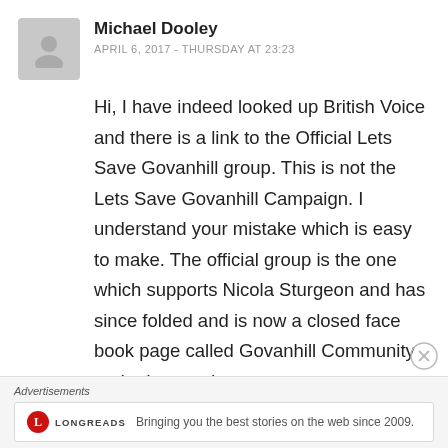Michael Dooley
APRIL 6, 2017 - THURSDAY AT 23:23
Hi, I have indeed looked up British Voice and there is a link to the Official Lets Save Govanhill group. This is not the Lets Save Govanhill Campaign. I understand your mistake which is easy to make. The official group is the one which supports Nicola Sturgeon and has since folded and is now a closed face book page called Govanhill Community and advocated
Advertisements
[Figure (logo): Longreads logo with red circle and L letter, text LONGREADS, tagline: Bringing you the best stories on the web since 2009.]